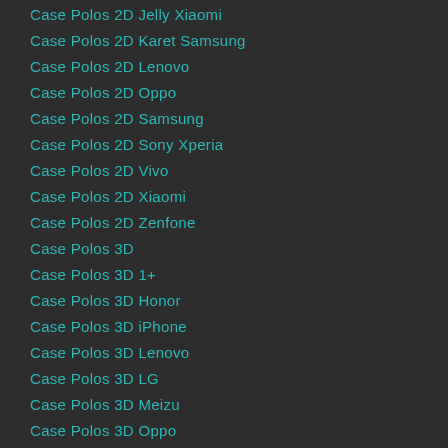Case Polos 2D Jelly Xiaomi
Case Polos 2D Karet Samsung
Case Polos 2D Lenovo
Case Polos 2D Oppo
Case Polos 2D Samsung
Case Polos 2D Sony Xperia
Case Polos 2D Vivo
Case Polos 2D Xiaomi
Case Polos 2D Zenfone
Case Polos 3D
Case Polos 3D 1+
Case Polos 3D Honor
Case Polos 3D iPhone
Case Polos 3D Lenovo
Case Polos 3D LG
Case Polos 3D Meizu
Case Polos 3D Oppo
Case Polos 3D RealMe